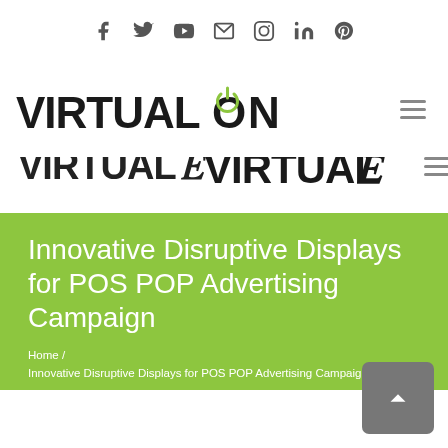Social icons bar: Facebook, Twitter, YouTube, Email, Instagram, LinkedIn, Pinterest
ES | FAQ | Budget Calc. | My Account
[Figure (logo): Virtual On logo in bold black text with a green power-button dot on the letter O]
Innovative Disruptive Displays for POS POP Advertising Campaign
Home / Innovative Disruptive Displays for POS POP Advertising Campaign